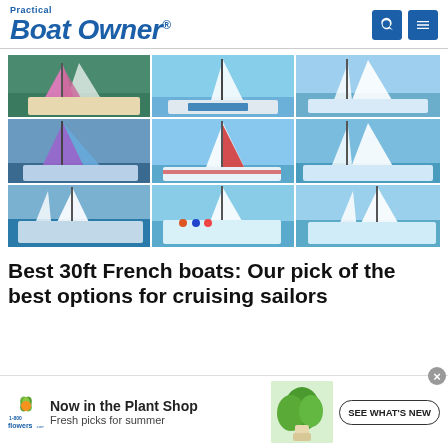Practical Boat Owner
[Figure (photo): 3x3 grid of sailboat photographs showing various 30ft French sailboats sailing and moored in different conditions]
Best 30ft French boats: Our pick of the best options for cruising sailors
[Figure (other): 1-800-flowers.com advertisement banner: Now in the Plant Shop - Fresh picks for summer, SEE WHAT'S NEW button, with plant image]